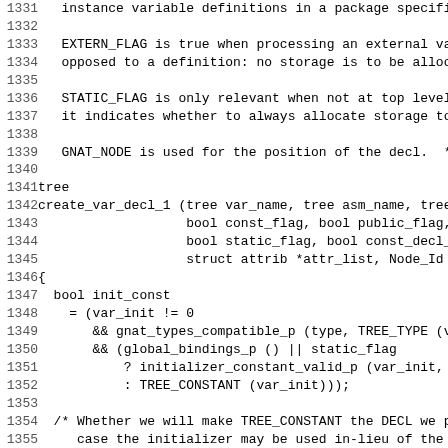Source code listing, lines 1331-1362, showing C function create_var_decl_1 with comments and variable declarations including init_const and constant_p.